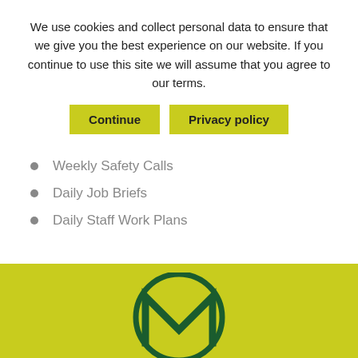We use cookies and collect personal data to ensure that we give you the best experience on our website. If you continue to use this site we will assume that you agree to our terms.
[Figure (screenshot): Two yellow-green buttons: 'Continue' and 'Privacy policy']
Weekly Safety Calls
Daily Job Briefs
Daily Staff Work Plans
[Figure (logo): Circular logo with stylized M letterform in dark green on yellow-green background]